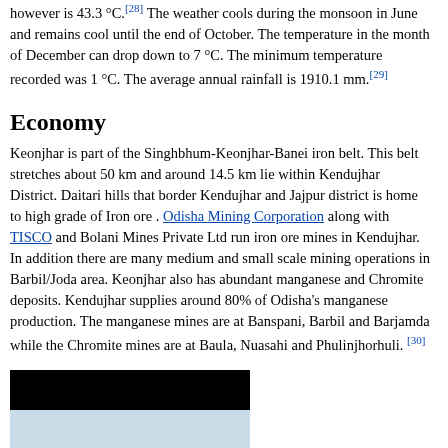however is 43.3 °C.[28] The weather cools during the monsoon in June and remains cool until the end of October. The temperature in the month of December can drop down to 7 °C. The minimum temperature recorded was 1 °C. The average annual rainfall is 1910.1 mm.[29]
Economy
Keonjhar is part of the Singhbhum-Keonjhar-Banei iron belt. This belt stretches about 50 km and around 14.5 km lie within Kendujhar District. Daitari hills that border Kendujhar and Jajpur district is home to high grade of Iron ore . Odisha Mining Corporation along with TISCO and Bolani Mines Private Ltd run iron ore mines in Kendujhar. In addition there are many medium and small scale mining operations in Barbil/Joda area. Keonjhar also has abundant manganese and Chromite deposits. Kendujhar supplies around 80% of Odisha's manganese production. The manganese mines are at Banspani, Barbil and Barjamda while the Chromite mines are at Baula, Nuasahi and Phulinjhorhuli.[30]
[Figure (photo): Partial image showing a dark (black) upper section and a light blue lower section, likely an outdoor or geographic photograph.]